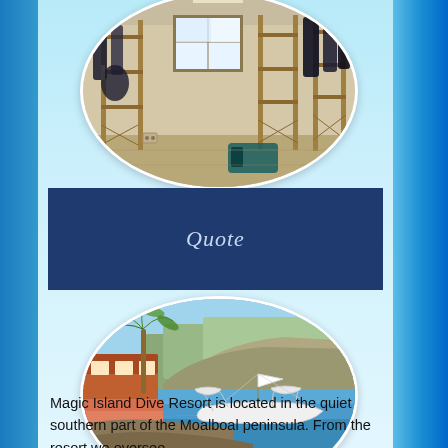[Figure (photo): Oval-framed photo of a dive equipment storage room with wetsuits and gear hanging on wooden racks, windows in the background]
[Figure (other): Dark navy blue rectangular box with the italic text 'Quote' centered in light blue/white italic font]
[Figure (photo): Oval-framed photo of Magic Island Dive Resort showing a traditional Filipino outrigger boat (banca) on calm blue water, with tropical resort buildings on the left, palm trees, and a cliff/hill in the background]
Magic Island Dive Resort is located in the quiet southern part of the Moalboal peninsula. From the resort we oversee